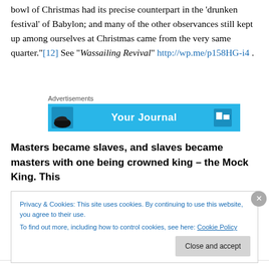bowl of Christmas had its precise counterpart in the 'drunken festival' of Babylon; and many of the other observances still kept up among ourselves at Christmas came from the very same quarter."[12] See "Wassailing Revival" http://wp.me/p158HG-i4 .
[Figure (other): Advertisements banner with blue background showing partial text 'Your Journal' and icons]
Masters became slaves, and slaves became masters with one being crowned king – the Mock King. This
Privacy & Cookies: This site uses cookies. By continuing to use this website, you agree to their use. To find out more, including how to control cookies, see here: Cookie Policy